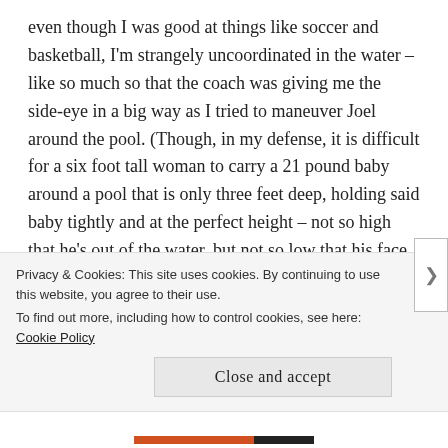even though I was good at things like soccer and basketball, I'm strangely uncoordinated in the water – like so much so that the coach was giving me the side-eye in a big way as I tried to maneuver Joel around the pool. (Though, in my defense, it is difficult for a six foot tall woman to carry a 21 pound baby around a pool that is only three feet deep, holding said baby tightly and at the perfect height – not so high that he's out of the water, but not so low that his face is in the water. Owwwww – my back!)
Also, I think I have some kind of learning disability –
Privacy & Cookies: This site uses cookies. By continuing to use this website, you agree to their use.
To find out more, including how to control cookies, see here: Cookie Policy
Close and accept